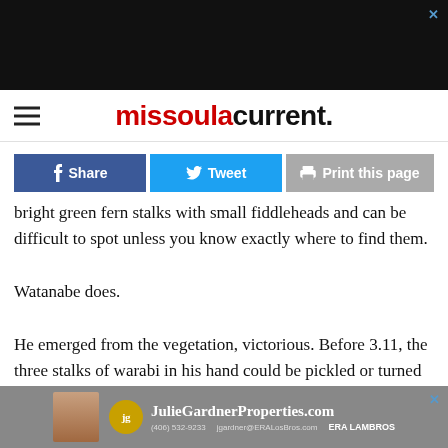[Figure (other): Top advertisement banner, dark background]
missoula current.
Share   Tweet   Print this page
bright green fern stalks with small fiddleheads and can be difficult to spot unless you know exactly where to find them.

Watanabe does.

He emerged from the vegetation, victorious. Before 3.11, the three stalks of warabi in his hand could be pickled or turned into tempura. Now, he said, they will likely not be eaten.

Watanabe mourns the contamination in the village. He
[Figure (other): Bottom advertisement banner for JulieGardnerProperties.com]